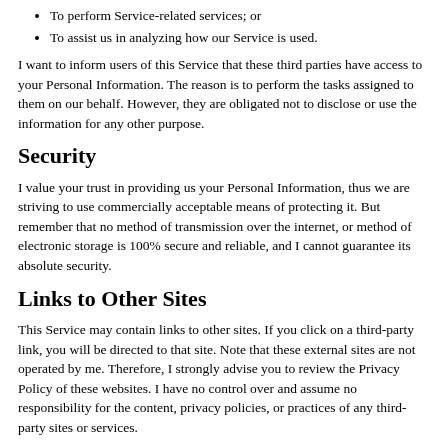To perform Service-related services; or
To assist us in analyzing how our Service is used.
I want to inform users of this Service that these third parties have access to your Personal Information. The reason is to perform the tasks assigned to them on our behalf. However, they are obligated not to disclose or use the information for any other purpose.
Security
I value your trust in providing us your Personal Information, thus we are striving to use commercially acceptable means of protecting it. But remember that no method of transmission over the internet, or method of electronic storage is 100% secure and reliable, and I cannot guarantee its absolute security.
Links to Other Sites
This Service may contain links to other sites. If you click on a third-party link, you will be directed to that site. Note that these external sites are not operated by me. Therefore, I strongly advise you to review the Privacy Policy of these websites. I have no control over and assume no responsibility for the content, privacy policies, or practices of any third-party sites or services.